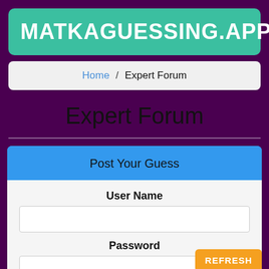MATKAGUESSING.APP
Home / Expert Forum
Expert Forum
Post Your Guess
User Name
Password
REFRESH